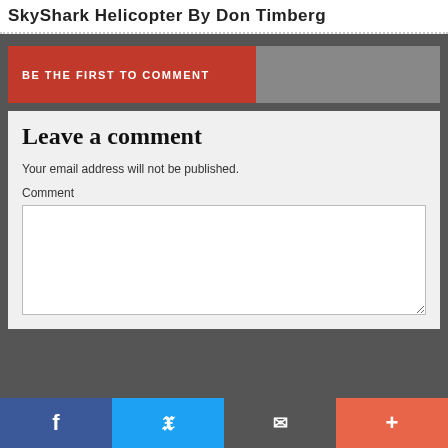SkyShark Helicopter By Don Timberg
BE THE FIRST TO COMMENT
Leave a comment
Your email address will not be published.
Comment